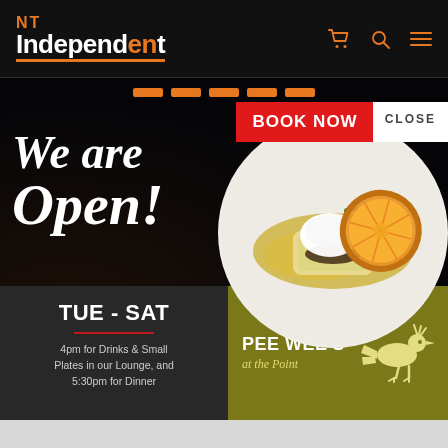[Figure (logo): NT Independent newspaper logo with orange NT letters and white Independent text, orange underline]
[Figure (infographic): Restaurant advertisement banner: 'We are Open!' text on dark background with food photo (dessert plate with orange slice and cream on white plate), BOOK NOW button in red, CLOSE button in white]
TUE - SAT
4pm for Drinks & Small Plates in our Lounge, and 5:30pm for Dinner
PEE WEE'S at the Point